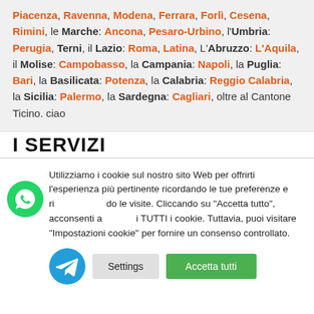Piacenza, Ravenna, Modena, Ferrara, Forlì, Cesena, Rimini, le Marche: Ancona, Pesaro-Urbino, l'Umbria: Perugia, Terni, il Lazio: Roma, Latina, L'Abruzzo: L'Aquila, il Molise: Campobasso, la Campania: Napoli, la Puglia: Bari, la Basilicata: Potenza, la Calabria: Reggio Calabria, la Sicilia: Palermo, la Sardegna: Cagliari, oltre al Cantone Ticino. ciao
I SERVIZI
Utilizziamo i cookie sul nostro sito Web per offrirti l'esperienza più pertinente ricordando le tue preferenze e ricordando le visite. Cliccando su "Accetta tutto", acconsenti all'uso di TUTTI i cookie. Tuttavia, puoi visitare "Impostazioni cookie" per fornire un consenso controllato.